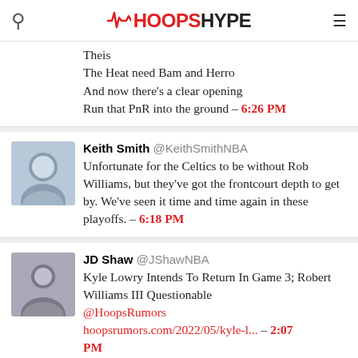HoopsHype
Theis
The Heat need Bam and Herro
And now there's a clear opening
Run that PnR into the ground – 6:26 PM
Keith Smith @KeithSmithNBA Unfortunate for the Celtics to be without Rob Williams, but they've got the frontcourt depth to get by. We've seen it time and time again in these playoffs. – 6:18 PM
JD Shaw @JShawNBA Kyle Lowry Intends To Return In Game 3; Robert Williams III Questionable @HoopsRumors hoopsrumors.com/2022/05/kyle-l... – 2:07 PM